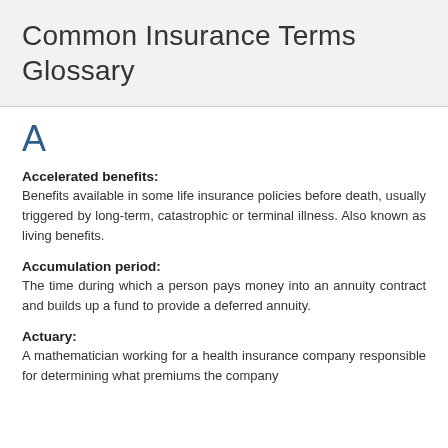Common Insurance Terms Glossary
A
Accelerated benefits:
Benefits available in some life insurance policies before death, usually triggered by long-term, catastrophic or terminal illness. Also known as living benefits.
Accumulation period:
The time during which a person pays money into an annuity contract and builds up a fund to provide a deferred annuity.
Actuary:
A mathematician working for a health insurance company responsible for determining what premiums the company